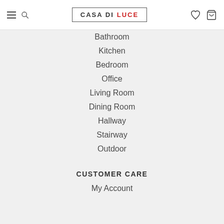CASA DI LUCE
Bathroom
Kitchen
Bedroom
Office
Living Room
Dining Room
Hallway
Stairway
Outdoor
CUSTOMER CARE
My Account